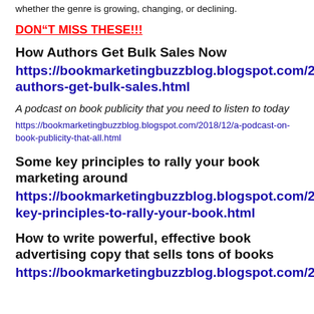whether the genre is growing, changing, or declining.
DON’T MISS THESE!!!
How Authors Get Bulk Sales Now
https://bookmarketingbuzzblog.blogspot.com/2019/03/how-authors-get-bulk-sales.html
A podcast on book publicity that you need to listen to today
https://bookmarketingbuzzblog.blogspot.com/2018/12/a-podcast-on-book-publicity-that-all.html
Some key principles to rally your book marketing around
https://bookmarketingbuzzblog.blogspot.com/2019/03/some-key-principles-to-rally-your-book.html
How to write powerful, effective book advertising copy that sells tons of books
https://bookmarketingbuzzblog.blogspot.com/201